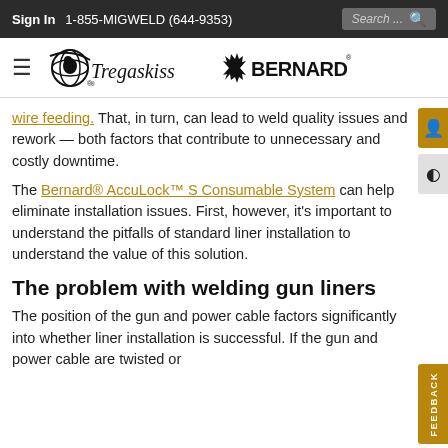Sign In   1-855-MIGWELD (644-9353)   Search...
[Figure (logo): Tregaskiss and Bernard brand logos with hamburger menu icon]
wire feeding. That, in turn, can lead to weld quality issues and rework — both factors that contribute to unnecessary and costly downtime.
The Bernard® AccuLock™ S Consumable System can help eliminate installation issues. First, however, it's important to understand the pitfalls of standard liner installation to understand the value of this solution.
The problem with welding gun liners
The position of the gun and power cable factors significantly into whether liner installation is successful. If the gun and power cable are twisted or